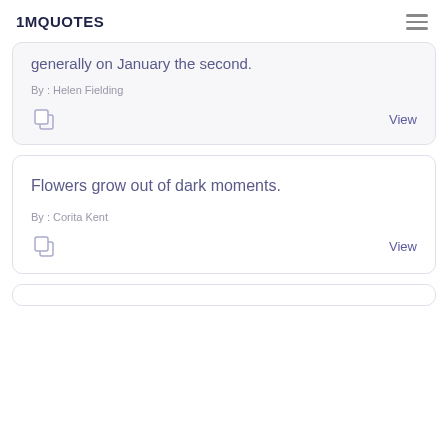1MQUOTES
generally on January the second.
By : Helen Fielding
View
Flowers grow out of dark moments.
By : Corita Kent
View